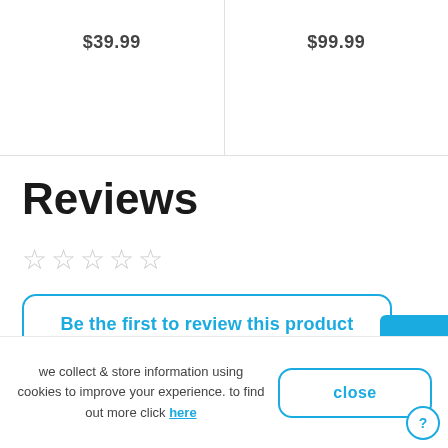$39.99
$99.99
Reviews
★★★★★ (empty stars)
Be the first to review this product
we collect & store information using cookies to improve your experience. to find out more click here
close